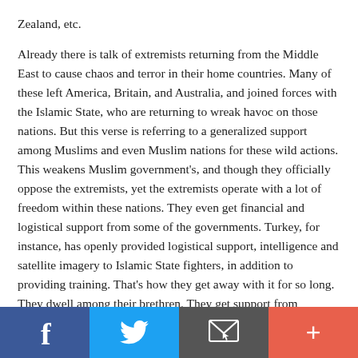Zealand, etc.
Already there is talk of extremists returning from the Middle East to cause chaos and terror in their home countries. Many of these left America, Britain, and Australia, and joined forces with the Islamic State, who are returning to wreak havoc on those nations. But this verse is referring to a generalized support among Muslims and even Muslim nations for these wild actions. This weakens Muslim government's, and though they officially oppose the extremists, yet the extremists operate with a lot of freedom within these nations. They even get financial and logistical support from some of the governments. Turkey, for instance, has openly provided logistical support, intelligence and satellite imagery to Islamic State fighters, in addition to providing training. That's how they get away with it for so long. They dwell among their brethren. They get support from Muslims and Muslim nations.
[Figure (infographic): Social media share bar with four buttons: Facebook (blue), Twitter (light blue), Email/envelope (dark gray), and More/plus (coral red)]